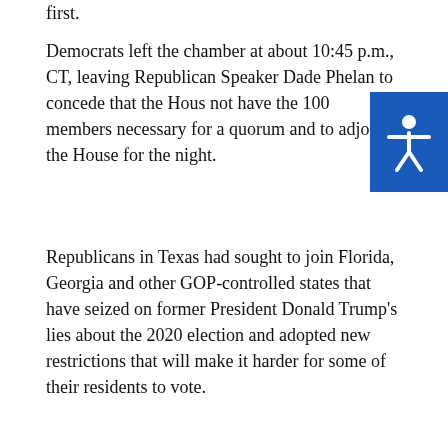first.
Democrats left the chamber at about 10:45 p.m., CT, leaving Republican Speaker Dade Phelan to concede that the House did not have the 100 members necessary for a quorum and to adjourn the House for the night.
Republicans in Texas had sought to join Florida, Georgia and other GOP-controlled states that have seized on former President Donald Trump's lies about the 2020 election and adopted new restrictions that will make it harder for some of their residents to vote.
Trending Articles
[Figure (photo): Yellow road construction signs on a pole with a palm tree in background]
[Figure (photo): Document/fire icon with notification bell overlay on grey background]